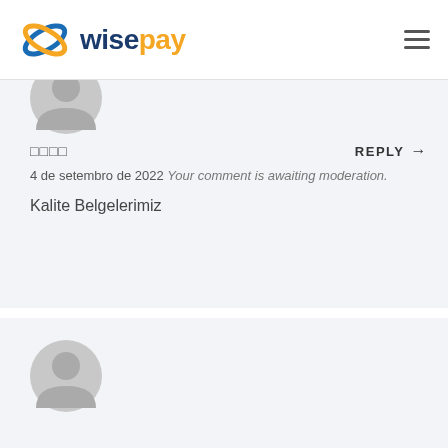wisepay
[Figure (illustration): Partially visible user avatar (generic grey silhouette) at top of comment card]
□□□□
REPLY →
4 de setembro de 2022 Your comment is awaiting moderation.
Kalite Belgelerimiz
[Figure (illustration): User avatar (generic grey silhouette) at top of second comment card]